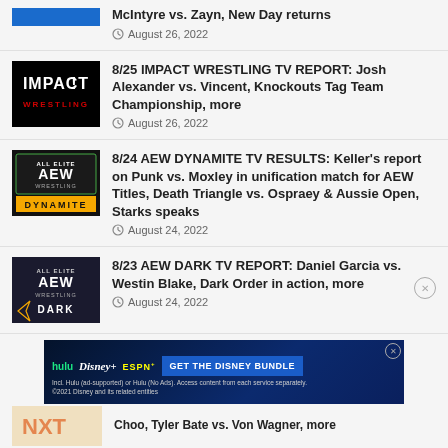McIntyre vs. Zayn, New Day returns — August 26, 2022
8/25 IMPACT WRESTLING TV REPORT: Josh Alexander vs. Vincent, Knockouts Tag Team Championship, more — August 26, 2022
8/24 AEW DYNAMITE TV RESULTS: Keller's report on Punk vs. Moxley in unification match for AEW Titles, Death Triangle vs. Ospraey & Aussie Open, Starks speaks — August 24, 2022
8/23 AEW DARK TV REPORT: Daniel Garcia vs. Westin Blake, Dark Order in action, more — August 24, 2022
[Figure (other): Disney Bundle advertisement banner: Hulu, Disney+, ESPN+ logos with 'GET THE DISNEY BUNDLE' CTA button. Fine print: Incl. Hulu (ad-supported) or Hulu (No Ads). Access content from each service separately. ©2021 Disney and its related entities]
Choo, Tyler Bate vs. Von Wagner, more